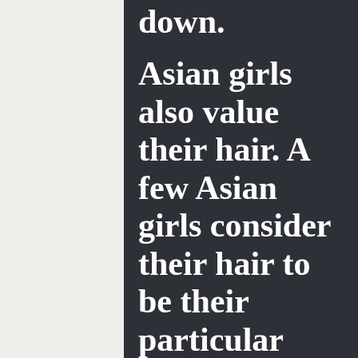down. Asian girls also value their hair. A few Asian girls consider their hair to be their particular most attractive